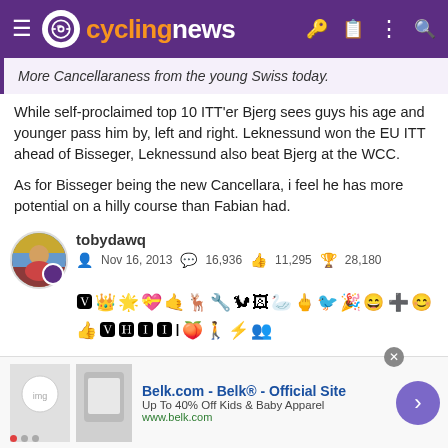cyclingnews
More Cancellaraness from the young Swiss today.
While self-proclaimed top 10 ITT'er Bjerg sees guys his age and younger pass him by, left and right. Leknessund won the EU ITT ahead of Bisseger, Leknessund also beat Bjerg at the WCC.
As for Bisseger being the new Cancellara, i feel he has more potential on a hilly course than Fabian had.
tobydawq — Nov 16, 2013 — 16,936 — 11,295 — 28,180